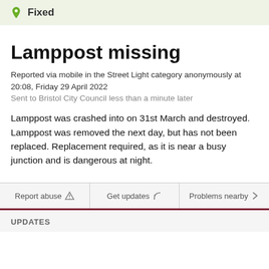Fixed
Lamppost missing
Reported via mobile in the Street Light category anonymously at 20:08, Friday 29 April 2022
Sent to Bristol City Council less than a minute later
Lamppost was crashed into on 31st March and destroyed. Lamppost was removed the next day, but has not been replaced. Replacement required, as it is near a busy junction and is dangerous at night.
UPDATES